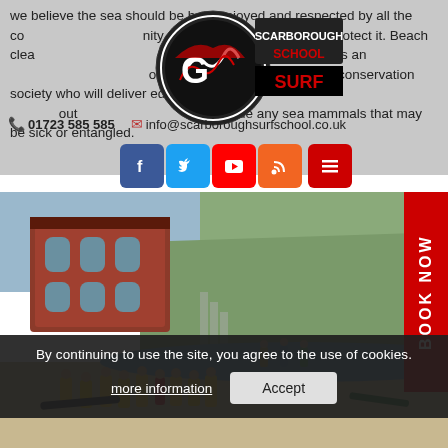we believe the sea should be both enjoyed and respected by all the community and it is our duty to care to protect it. Beach cleans run in conjunction with our activities and we look forward to working with our local Marine conservation society who will deliver education about our local sea life and to rescue any sea mammals that may be sick or entangled.
[Figure (logo): Scarborough Surf School logo — circular emblem with stylized wave/surf graphic and bold text reading SCARBOROUGH SURF SCHOOL]
01723 585 585    info@scarboroughsurfschool.co.uk
[Figure (screenshot): Navigation bar with social media icons: Facebook (blue), Twitter (blue), YouTube (red), RSS (orange), Menu (red hamburger), and a red BOOK NOW sidebar button on the right]
[Figure (photo): Beach scene showing a red brick building on a cliff, sandy beach with groups of children wearing yellow wetsuits holding surfboards, instructors, and sea in background with cliffs]
By continuing to use the site, you agree to the use of cookies.
more information
Accept